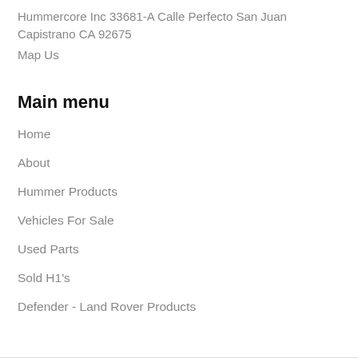Hummercore Inc 33681-A Calle Perfecto San Juan Capistrano CA 92675
Map Us
Main menu
Home
About
Hummer Products
Vehicles For Sale
Used Parts
Sold H1's
Defender - Land Rover Products